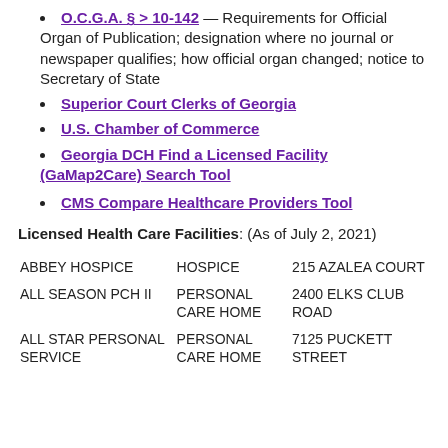O.C.G.A. § > 10‑142 — Requirements for Official Organ of Publication; designation where no journal or newspaper qualifies; how official organ changed; notice to Secretary of State
Superior Court Clerks of Georgia
U.S. Chamber of Commerce
Georgia DCH Find a Licensed Facility (GaMap2Care) Search Tool
CMS Compare Healthcare Providers Tool
Licensed Health Care Facilities: (As of July 2, 2021)
|  |  |  |
| --- | --- | --- |
| ABBEY HOSPICE | HOSPICE | 215 AZALEA COURT |
| ALL SEASON PCH II | PERSONAL CARE HOME | 2400 ELKS CLUB ROAD |
| ALL STAR PERSONAL SERVICE | PERSONAL CARE HOME | 7125 PUCKETT STREET |